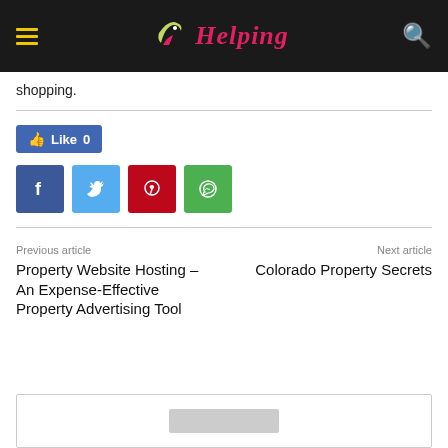Helping [website header with logo and navigation]
shopping.
Like 0
[Figure (other): Social share buttons: Facebook (blue), Twitter (light blue), Pinterest (red), WhatsApp (green)]
Previous article
Next article
Property Website Hosting – An Expense-Effective Property Advertising Tool
Colorado Property Secrets
[Figure (other): Bottom content box with a gray placeholder element inside]